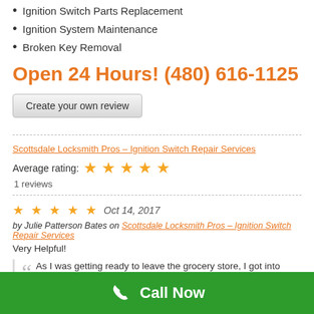Ignition Switch Parts Replacement
Ignition System Maintenance
Broken Key Removal
Open 24 Hours! (480) 616-1125
Create your own review
Scottsdale Locksmith Pros – Ignition Switch Repair Services
Average rating: ★★★★★
1 reviews
★★★★★  Oct 14, 2017
by Julie Patterson Bates on Scottsdale Locksmith Pros – Ignition Switch Repair Services
Very Helpful!
As I was getting ready to leave the grocery store, I got into my car and the key wouldn't turn. I had no idea what to do. I
Call Now